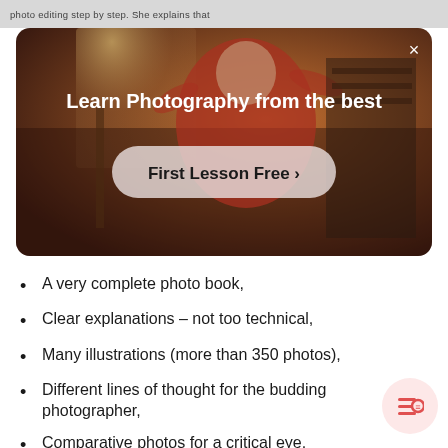photo editing step by step. She explains that
[Figure (photo): Advertisement banner with a person in a red top against a warm background. Text overlay: 'Learn Photography from the best' with a 'First Lesson Free >' call-to-action button and a close (×) button in the top right corner.]
A very complete photo book,
Clear explanations – not too technical,
Many illustrations (more than 350 photos),
Different lines of thought for the budding photographer,
Comparative photos for a critical eye.